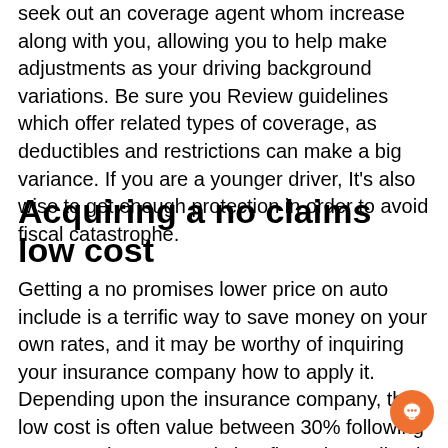seek out an coverage agent whom increase along with you, allowing you to help make adjustments as your driving background variations. Be sure you Review guidelines which offer related types of coverage, as deductibles and restrictions can make a big variance. If you are a younger driver, It's also wise to get enough protection in order to avoid fiscal catastrophe.
Acquiring a no claims low cost
Getting a no promises lower price on auto include is a terrific way to save money on your own rates, and it may be worthy of inquiring your insurance company how to apply it. Depending upon the insurance company, the low cost is often value between 30% following a 12 months to around sixty five% immediately after five years. Keep in mind that When you have an accident, you can expect to reduce two many years of no statements bonus. In addition, various promises can even wipe out all of your current no statements reward. It can be necessary to notify your